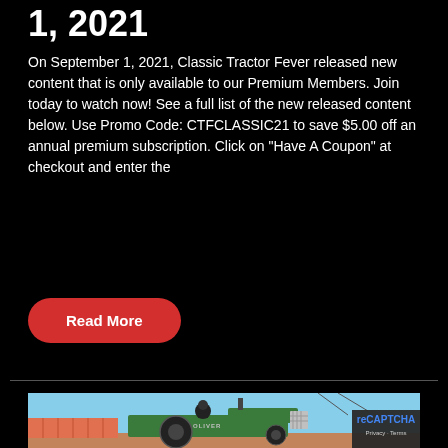1, 2021
On September 1, 2021, Classic Tractor Fever released new content that is only available to our Premium Members. Join today to watch now! See a full list of the new released content below. Use Promo Code: CTFCLASSIC21 to save $5.00 off an annual premium subscription. Click on “Have A Coupon” at checkout and enter the
Read More
[Figure (photo): Photo of a man riding a green Oliver tractor outdoors on a flat area, with storage units visible in the background.]